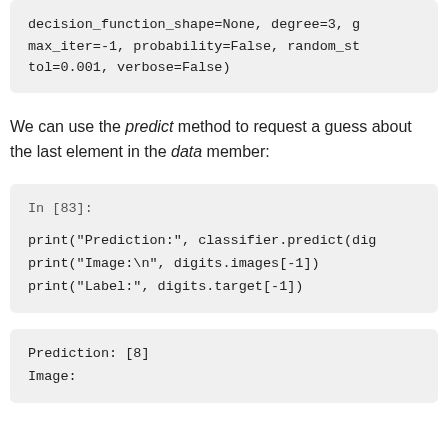decision_function_shape=None, degree=3, g
max_iter=-1, probability=False, random_st
tol=0.001, verbose=False)
We can use the predict method to request a guess about the last element in the data member:
In [83]:

print("Prediction:", classifier.predict(dig
print("Image:\n", digits.images[-1])
print("Label:", digits.target[-1])
Prediction: [8]
Image: